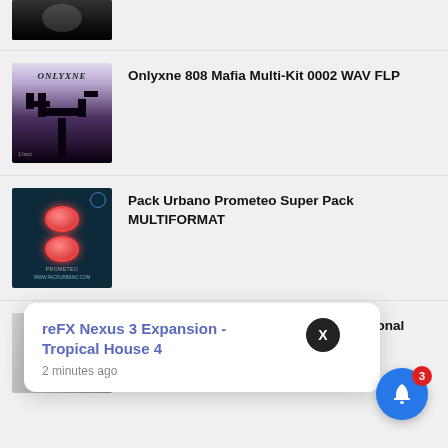[Figure (photo): Partial thumbnail of a dark image at the top, cropped]
Onlyxne 808 Mafia Multi-Kit 0002 WAV FLP
Pack Urbano Prometeo Super Pack MULTIFORMAT
Trance Titans Samples FL Studio Funtional Trance
reFX Nexus 3 Expansion - Tropical House 4
2 minutes ago